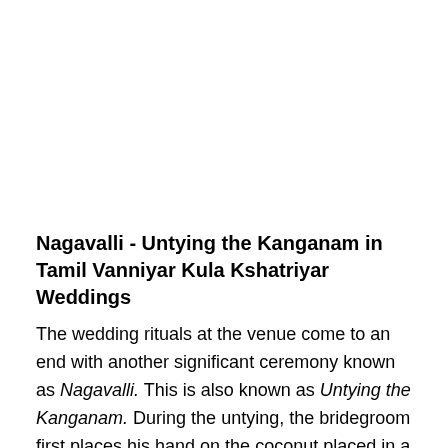Nagavalli - Untying the Kanganam in Tamil Vanniyar Kula Kshatriyar Weddings
The wedding rituals at the venue come to an end with another significant ceremony known as Nagavalli. This is also known as Untying the Kanganam. During the untying, the bridegroom first places his hand on the coconut placed in a silver plate. The purohit unties the yellow thread from his hand. Then the bride places her